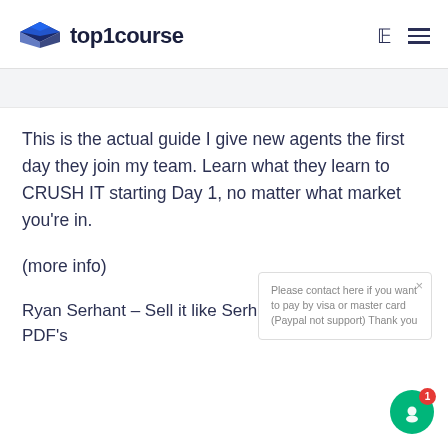top1course
This is the actual guide I give new agents the first day they join my team. Learn what they learn to CRUSH IT starting Day 1, no matter what market you're in.
(more info)
Ryan Serhant – Sell it like Serhant Contains: Videos, PDF's
Please contact here if you want to pay by visa or master card (Paypal not support) Thank you